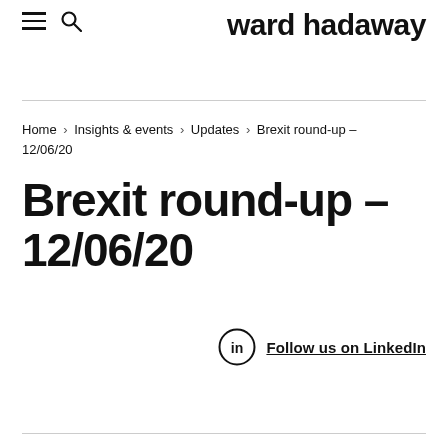ward hadaway
Home › Insights & events › Updates › Brexit round-up – 12/06/20
Brexit round-up – 12/06/20
Follow us on LinkedIn